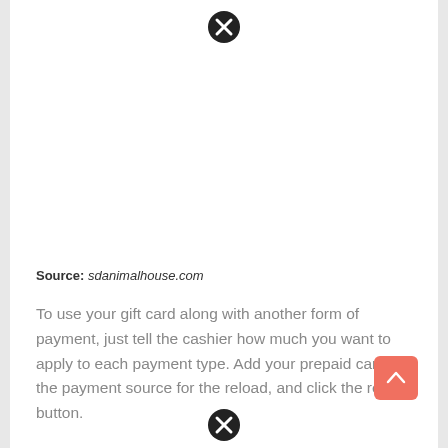[Figure (other): Close/dismiss button (circle with X) at top center of page]
Source: sdanimalhouse.com
To use your gift card along with another form of payment, just tell the cashier how much you want to apply to each payment type. Add your prepaid card as the payment source for the reload, and click the reload button.
[Figure (other): Scroll-to-top button (orange/salmon rounded square with upward arrow) at right side]
[Figure (other): Close/dismiss button (circle with X) at bottom center of page]